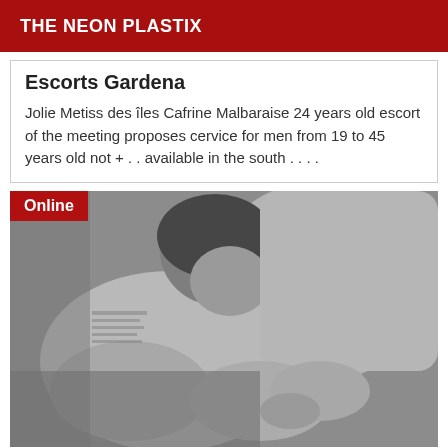THE NEON PLASTIX
Escorts Gardena
Jolie Metiss des îles Cafrine Malbaraise 24 years old escort of the meeting proposes cervice for men from 19 to 45 years old not + . . available in the south . . . .
[Figure (photo): Black and white intimate photograph of two people embracing, one bending over the other. An 'Online' badge is overlaid in the top-left corner.]